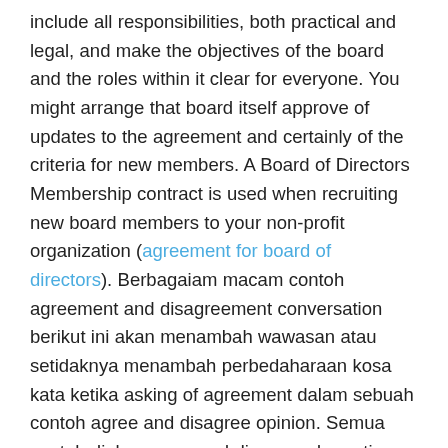include all responsibilities, both practical and legal, and make the objectives of the board and the roles within it clear for everyone. You might arrange that board itself approve of updates to the agreement and certainly of the criteria for new members. A Board of Directors Membership contract is used when recruiting new board members to your non-profit organization (agreement for board of directors). Berbagaiam macam contoh agreement and disagreement conversation berikut ini akan menambah wawasan atau setidaknya menambah perbedaharaan kosa kata ketika asking of agreement dalam sebuah contoh agree and disagree opinion. Semua contoh dialog agree and disagree dan artinya dibawah ini bisa dijadikan kalimat dasar yang bisa